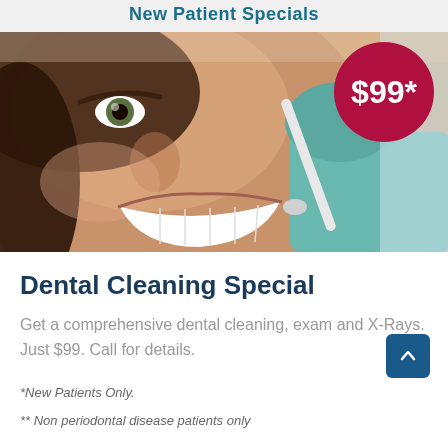New Patient Specials
[Figure (photo): Close-up photo of a woman smiling with teeth being cleaned by a dental hygienist with teal gloves, with a $99 price badge overlaid in the top right corner]
Dental Cleaning Special
Get a comprehensive dental cleaning, exam and X-Rays. Just $99. Call for details.
*New Patients Only.
** Non periodontal disease patients only